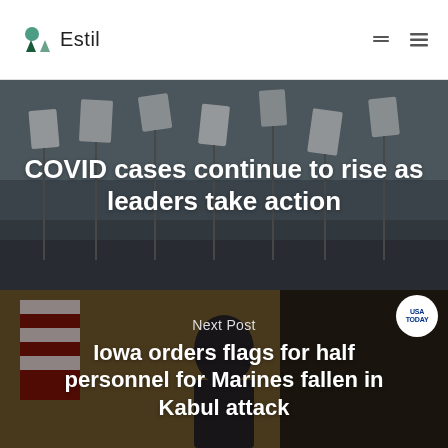Estil
[Figure (photo): Background image of white flags or banners in a field, muted blue-grey tones]
COVID cases continue to rise as leaders take action
[Figure (photo): Photo of a man in a suit speaking at a podium with American flags in the background, USA TODAY badge overlay]
Next Post
Iowa orders flags for half personnel for Marines fallen in Kabul attack